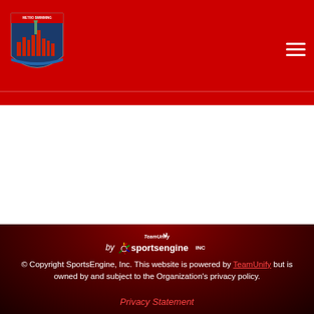[Figure (logo): Metro Swimming shield logo with Statue of Liberty]
[Figure (logo): Hamburger menu icon (three horizontal lines) in white on red background]
[Figure (logo): TeamUnify by SportsEngine Inc logo with flame/wing icon in white on dark red background]
© Copyright SportsEngine, Inc. This website is powered by TeamUnify but is owned by and subject to the Organization's privacy policy.

Privacy Statement